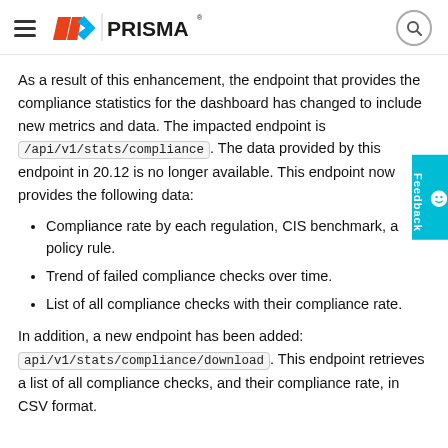PRISMA
As a result of this enhancement, the endpoint that provides the compliance statistics for the dashboard has changed to include new metrics and data. The impacted endpoint is /api/v1/stats/compliance. The data provided by this endpoint in 20.12 is no longer available. This endpoint now provides the following data:
Compliance rate by each regulation, CIS benchmark, and policy rule.
Trend of failed compliance checks over time.
List of all compliance checks with their compliance rate.
In addition, a new endpoint has been added: api/v1/stats/compliance/download. This endpoint retrieves a list of all compliance checks, and their compliance rate, in CSV format.